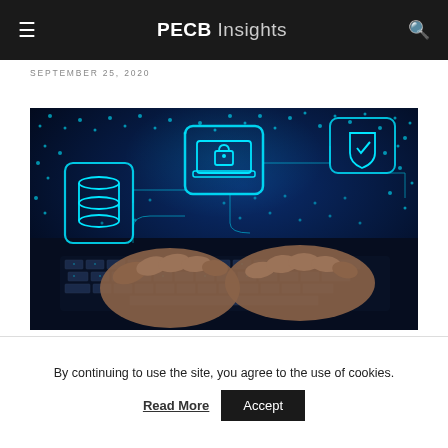PECB Insights
SEPTEMBER 25, 2020
[Figure (photo): Hands typing on a keyboard with cybersecurity digital overlay icons including lock, database, and network nodes on a dark blue background]
By continuing to use the site, you agree to the use of cookies.
Read More  Accept